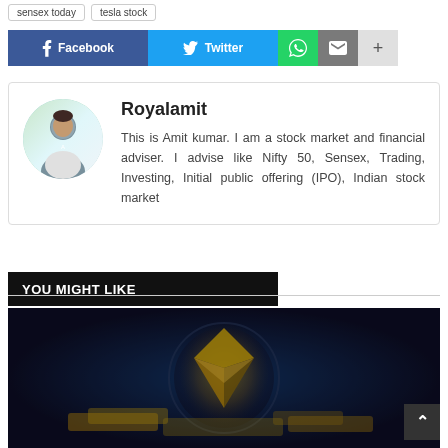sensex today   tesla stock
f Facebook   Twitter   WhatsApp   Email   +
Royalamit
This is Amit kumar. I am a stock market and financial adviser. I advise like Nifty 50, Sensex, Trading, Investing, Initial public offering (IPO), Indian stock market
YOU MIGHT LIKE
[Figure (photo): Dark blurred image with golden/orange glowing object in the center, resembling a cryptocurrency coin (Ethereum logo), with dark blue/black background]